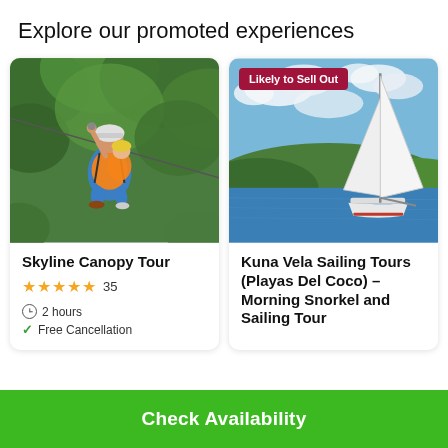Explore our promoted experiences
[Figure (photo): A man in orange safety vest and helmet holding a child in yellow helmet while zip-lining through green forest canopy]
Skyline Canopy Tour
★★★★★ 35
⊙ 2 hours
✓ Free Cancellation
[Figure (photo): A white sailboat on blue water with hills in the background under a partly cloudy sky, with a 'Likely to Sell Out' badge]
Kuna Vela Sailing Tours (Playas Del Coco) – Morning Snorkel and Sailing Tour
Check Availability